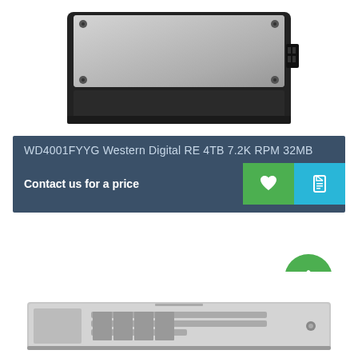[Figure (photo): Hard disk drive (HDD) viewed from above/angle, dark frame with metallic silver top, partial view cropped at top]
WD4001FYYG Western Digital RE 4TB 7.2K RPM 32MB
Contact us for a price
[Figure (illustration): Green heart/wishlist button icon]
[Figure (illustration): Cyan document/quote button icon]
[Figure (illustration): Green scroll-to-top button with upward chevron arrow]
[Figure (photo): 1U rack-mount server, silver/gray, front panel view, partially visible at bottom of page]